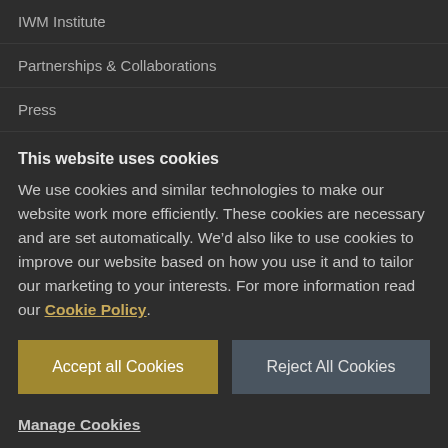IWM Institute
Partnerships & Collaborations
Press
This website uses cookies
We use cookies and similar technologies to make our website work more efficiently. These cookies are necessary and are set automatically. We’d also like to use cookies to improve our website based on how you use it and to tailor our marketing to your interests. For more information read our Cookie Policy.
Accept all Cookies
Reject All Cookies
Manage Cookies